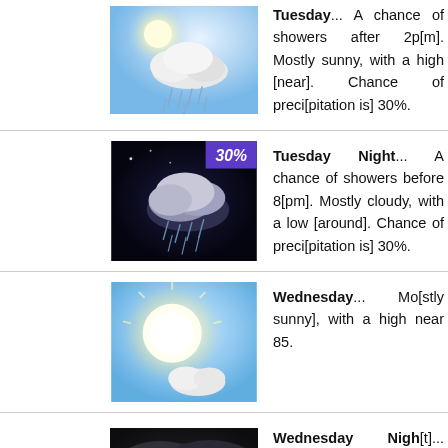[Figure (illustration): Weather icon: partly sunny with rain showers (daytime), light blue sky background with cloud and rain]
Tuesday... A chance of showers after 2pm. Mostly sunny, with a high near [cut off]. Chance of precipitation is 30%.
[Figure (illustration): Weather icon: night rain showers with cloud, dark background, 30% badge in purple corner]
Tuesday Night... A chance of showers before 8[pm]. Mostly cloudy, with a low around [cut off]. Chance of precipitation is 30%.
[Figure (illustration): Weather icon: mostly sunny with bright sun and small cloud, light blue sky background]
Wednesday... Mostly [sunny], with a high near 85.
[Figure (illustration): Weather icon: dark cloudy night sky, overcast clouds]
Wednesday Night... [Mostly] cloudy, with a low a[round cut off].